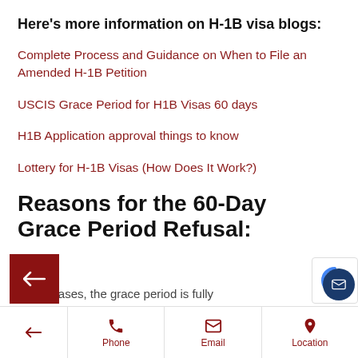Here's more information on H-1B visa blogs:
Complete Process and Guidance on When to File an Amended H-1B Petition
USCIS Grace Period for H1B Visas 60 days
H1B Application approval things to know
Lottery for H-1B Visas (How Does It Work?)
Reasons for the 60-Day Grace Period Refusal:
…any cases, the grace period is fully
Phone   Email   Location